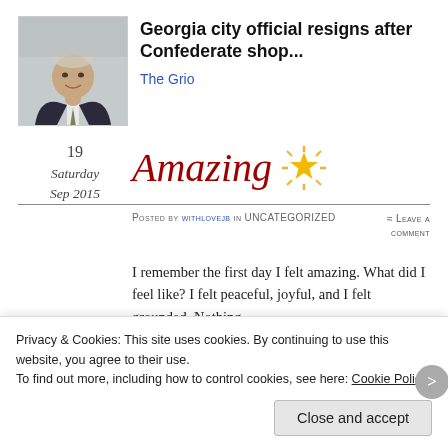[Figure (photo): Headshot photo of an older man in a suit and tie]
Georgia city official resigns after Confederate shop...
The Grio
19
Saturday
Sep 2015
Amazing
POSTED BY WITHLOVEJB IN UNCATEGORIZED
≈ LEAVE A COMMENT
I remember the first day I felt amazing. What did I feel like? I felt peaceful, joyful, and I felt grounded. Nothing
Privacy & Cookies: This site uses cookies. By continuing to use this website, you agree to their use.
To find out more, including how to control cookies, see here: Cookie Policy
Close and accept